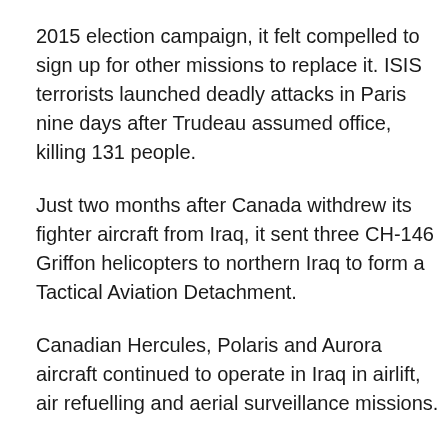2015 election campaign, it felt compelled to sign up for other missions to replace it. ISIS terrorists launched deadly attacks in Paris nine days after Trudeau assumed office, killing 131 people.
Just two months after Canada withdrew its fighter aircraft from Iraq, it sent three CH-146 Griffon helicopters to northern Iraq to form a Tactical Aviation Detachment.
Canadian Hercules, Polaris and Aurora aircraft continued to operate in Iraq in airlift, air refuelling and aerial surveillance missions.
Numbers rise, then fall
Canada also tripled the number of special forces